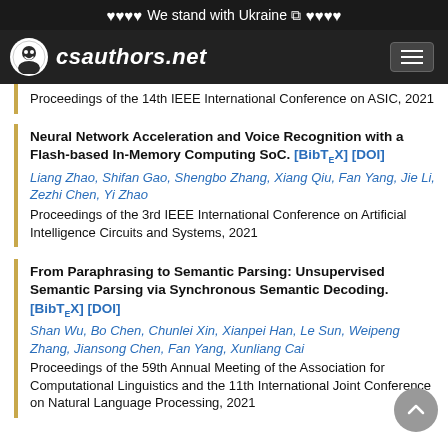We stand with Ukraine
csauthors.net
Proceedings of the 14th IEEE International Conference on ASIC, 2021
Neural Network Acceleration and Voice Recognition with a Flash-based In-Memory Computing SoC. [BibTeX] [DOI]
Liang Zhao, Shifan Gao, Shengbo Zhang, Xiang Qiu, Fan Yang, Jie Li, Zezhi Chen, Yi Zhao
Proceedings of the 3rd IEEE International Conference on Artificial Intelligence Circuits and Systems, 2021
From Paraphrasing to Semantic Parsing: Unsupervised Semantic Parsing via Synchronous Semantic Decoding. [BibTeX] [DOI]
Shan Wu, Bo Chen, Chunlei Xin, Xianpei Han, Le Sun, Weipeng Zhang, Jiansong Chen, Fan Yang, Xunliang Cai
Proceedings of the 59th Annual Meeting of the Association for Computational Linguistics and the 11th International Joint Conference on Natural Language Processing, 2021